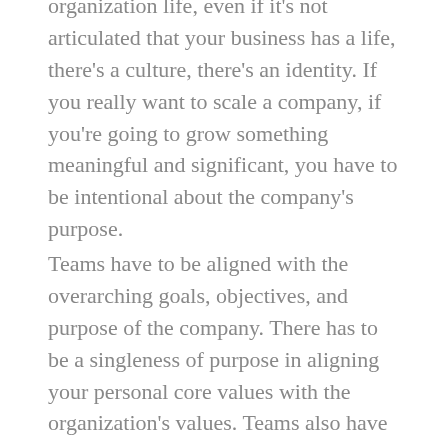organization life, even if it's not articulated that your business has a life, there's a culture, there's an identity. If you really want to scale a company, if you're going to grow something meaningful and significant, you have to be intentional about the company's purpose.
Teams have to be aligned with the overarching goals, objectives, and purpose of the company. There has to be a singleness of purpose in aligning your personal core values with the organization's values. Teams also have to be aligned with the overarching goals, objectives, and